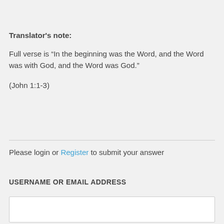Translator's note:
Full verse is “In the beginning was the Word, and the Word was with God, and the Word was God.”
(John 1:1-3)
Please login or Register to submit your answer
USERNAME OR EMAIL ADDRESS